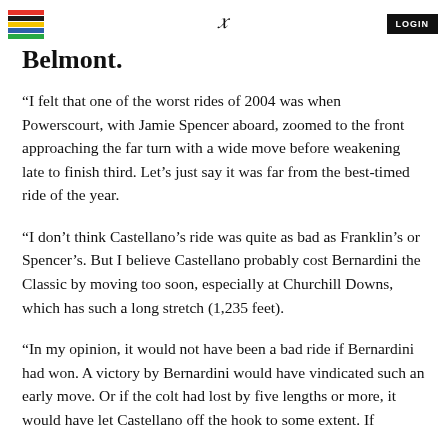LOGIN
Belmont.
“I felt that one of the worst rides of 2004 was when Powerscourt, with Jamie Spencer aboard, zoomed to the front approaching the far turn with a wide move before weakening late to finish third. Let’s just say it was far from the best-timed ride of the year.
“I don’t think Castellano’s ride was quite as bad as Franklin’s or Spencer’s. But I believe Castellano probably cost Bernardini the Classic by moving too soon, especially at Churchill Downs, which has such a long stretch (1,235 feet).
“In my opinion, it would not have been a bad ride if Bernardini had won. A victory by Bernardini would have vindicated such an early move. Or if the colt had lost by five lengths or more, it would have let Castellano off the hook to some extent. If …